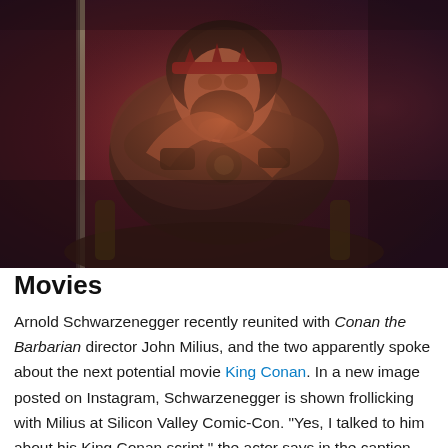[Figure (photo): Arnold Schwarzenegger as Conan the Barbarian, seated on a throne in full barbarian costume with fur collar, leather armor, and a crown/headband, holding a large staff/spear, lit dramatically with red and blue lighting.]
Movies
Arnold Schwarzenegger recently reunited with Conan the Barbarian director John Milius, and the two apparently spoke about the next potential movie King Conan. In a new image posted on Instagram, Schwarzenegger is shown frollicking with Milius at Silicon Valley Comic-Con. "Yes, I talked to him about his King Conan script," the actor says in the caption, apparently knowing fans were